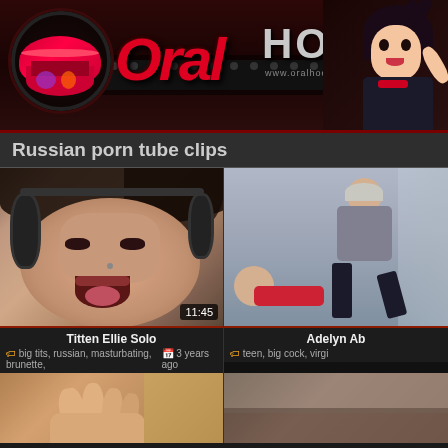[Figure (screenshot): Website header banner for OralHoes.com with logo featuring stylized text 'Oral' in red italic and 'HOES' in gray, with anime girl illustration on right]
Russian porn tube clips
[Figure (photo): Video thumbnail for 'Titten Ellie Solo' showing close-up of woman's face with duration 11:45]
Titten Ellie Solo
big tits, russian, masturbating, brunette,   3 years ago
[Figure (photo): Video thumbnail for 'Adelyn Ab...' showing teen content]
Adelyn Ab
teen, big cock, virgi
[Figure (photo): Video thumbnail bottom left, partially visible]
[Figure (photo): Video thumbnail bottom right, partially visible]